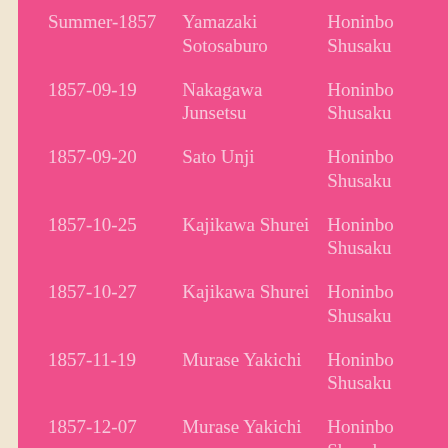| Date | Player | Winner |
| --- | --- | --- |
| Summer-1857 | Yamazaki Sotosaburo | Honinbo Shusaku |
| 1857-09-19 | Nakagawa Junsetsu | Honinbo Shusaku |
| 1857-09-20 | Sato Unji | Honinbo Shusaku |
| 1857-10-25 | Kajikawa Shurei | Honinbo Shusaku |
| 1857-10-27 | Kajikawa Shurei | Honinbo Shusaku |
| 1857-11-19 | Murase Yakichi | Honinbo Shusaku |
| 1857-12-07 | Murase Yakichi | Honinbo Shusaku |